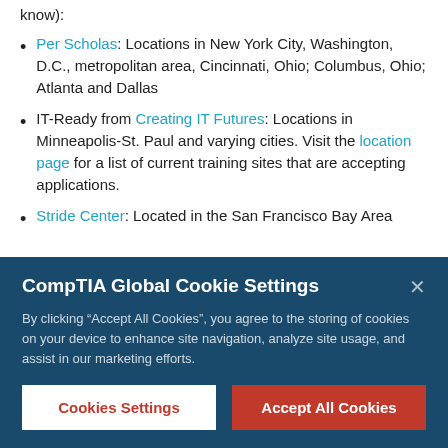know):
Per Scholas: Locations in New York City, Washington, D.C., metropolitan area, Cincinnati, Ohio; Columbus, Ohio; Atlanta and Dallas
IT-Ready from Creating IT Futures: Locations in Minneapolis-St. Paul and varying cities. Visit the location page for a list of current training sites that are accepting applications.
Stride Center: Located in the San Francisco Bay Area
CompTIA Global Cookie Settings
By clicking “Accept All Cookies”, you agree to the storing of cookies on your device to enhance site navigation, analyze site usage, and assist in our marketing efforts.
Cookies Settings
Accept All Cookies